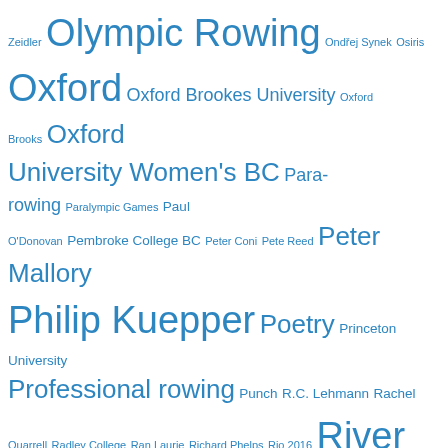[Figure (infographic): A tag cloud of rowing-related topics in various font sizes, all rendered in blue. Larger text indicates more frequent or prominent tags. Tags include: Zeidler, Olympic Rowing, Ondřej Synek, Osiris, Oxford, Oxford Brookes University, Oxford Brooks, Oxford University Women's BC, Para-rowing, Paralympic Games, Paul O'Donovan, Pembroke College BC, Peter Coni, Pete Reed, Peter Mallory, Philip Kuepper, Poetry, Princeton University, Professional rowing, Punch, R.C. Lehmann, Rachel Quarrell, Radley College, Ran Laurie, Richard Phelps, Rio 2016, River and Rowing Museum, River Cam, River Thames, Rob Baker, Robert Treharne-Jones, Rowing Art, Rowing blog, Rowing Books, Rowing Documentary, Rowing Event, Rowing Films, Rowing Hall of Fame, Rowing History Forum, Rowing in Australia, Rowing in Germany, Rowing in New Zealand, Rowing in Plays, Rowing Magazines, Rowing nonsense, Rowing oddities, Rowing Paintings]